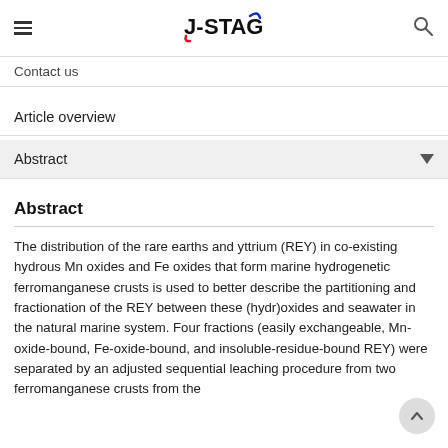J-STAGE
Contact us
Article overview
Abstract
Abstract
The distribution of the rare earths and yttrium (REY) in co-existing hydrous Mn oxides and Fe oxides that form marine hydrogenetic ferromanganese crusts is used to better describe the partitioning and fractionation of the REY between these (hydr)oxides and seawater in the natural marine system. Four fractions (easily exchangeable, Mn-oxide-bound, Fe-oxide-bound, and insoluble-residue-bound REY) were separated by an adjusted sequential leaching procedure from two ferromanganese crusts from the